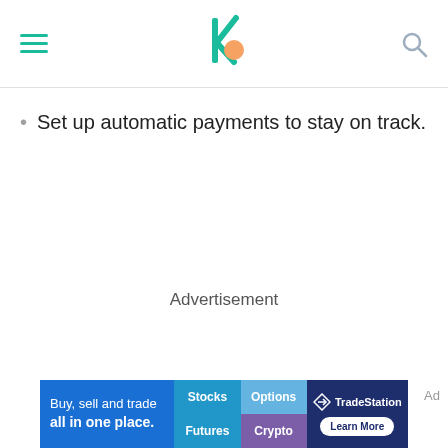Navigation header with hamburger menu, logo, and search icon
Set up automatic payments to stay on track.
Advertisement
Ad
[Figure (screenshot): TradeStation advertisement banner: Buy, sell and trade all in one place. Stocks, Options, Futures, Crypto. TradeStation Learn More.]